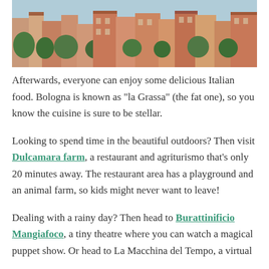[Figure (photo): Aerial view of Bologna, Italy, showing colorful terracotta-roofed buildings and green trees against a cityscape.]
Afterwards, everyone can enjoy some delicious Italian food. Bologna is known as “la Grassa” (the fat one), so you know the cuisine is sure to be stellar.
Looking to spend time in the beautiful outdoors? Then visit Dulcamara farm, a restaurant and agriturismo that’s only 20 minutes away. The restaurant area has a playground and an animal farm, so kids might never want to leave!
Dealing with a rainy day? Then head to Burattinificio Mangiafoco, a tiny theatre where you can watch a magical puppet show. Or head to La Macchina del Tempo, a virtual reality experience that allows visitors to...